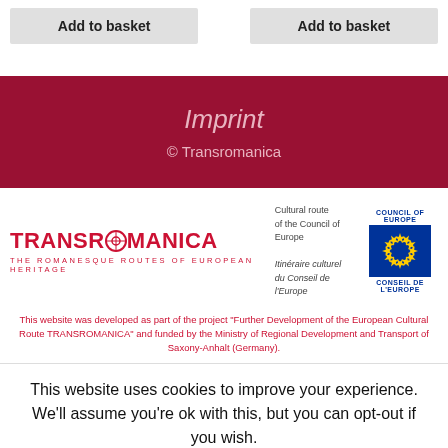Add to basket | Add to basket
Imprint
© Transromanica
[Figure (logo): Transromanica logo with Council of Europe emblem. TRANSROMANICA - The Romanesque Routes of European Heritage. Cultural route of the Council of Europe / Itinéraire culturel du Conseil de l'Europe. Council of Europe / Conseil de l'Europe logo.]
This website was developed as part of the project "Further Development of the European Cultural Route TRANSROMANICA" and funded by the Ministry of Regional Development and Transport of Saxony-Anhalt (Germany).
This website uses cookies to improve your experience. We'll assume you're ok with this, but you can opt-out if you wish.